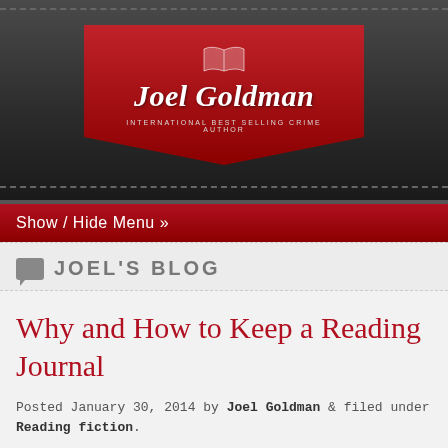[Figure (logo): Joel Goldman website header with red banner, book icon, site name and subtitle 'International Best Selling Crime Author' on dark leather-textured background]
Show / Hide Menu »
JOEL'S BLOG
Why and How to Keep a Reading Journal
Posted January 30, 2014 by Joel Goldman & filed under Reading fiction.
[Figure (infographic): Social sharing buttons: Facebook (blue), Twitter (light blue), Email (grey), Pinterest (red), More (orange), and a share count box]